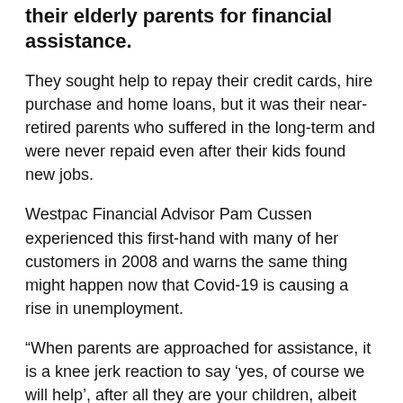their elderly parents for financial assistance.
They sought help to repay their credit cards, hire purchase and home loans, but it was their near-retired parents who suffered in the long-term and were never repaid even after their kids found new jobs.
Westpac Financial Advisor Pam Cussen experienced this first-hand with many of her customers in 2008 and warns the same thing might happen now that Covid-19 is causing a rise in unemployment.
“When parents are approached for assistance, it is a knee jerk reaction to say ‘yes, of course we will help’, after all they are your children, albeit they are adults.
“This saw retirement plans in 2008 change dramatically for the parents and their once anticipated fun-filled years were now back to having a tight budget.